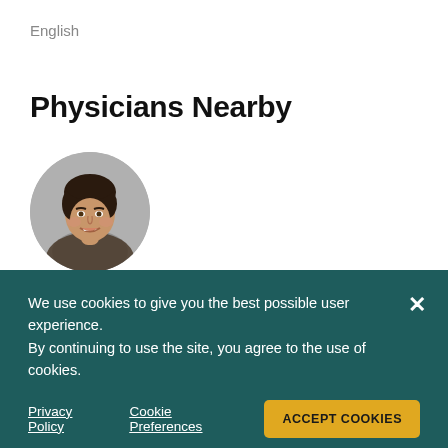English
Physicians Nearby
[Figure (photo): Circular headshot photo of Mary E. Horner, M.D., a woman with short dark hair, smiling, against a grey background.]
Mary E. Horner, M.D.
Dermatology
We use cookies to give you the best possible user experience. By continuing to use the site, you agree to the use of cookies.
Privacy Policy   Cookie Preferences   ACCEPT COOKIES